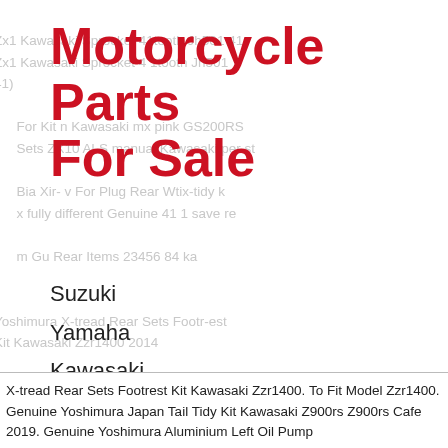Motorcycle Parts For Sale
Suzuki
Yamaha
Kawasaki
Harley Davidson
Harley
Vintage
X-tread Rear Sets Footrest Kit Kawasaki Zzr1400. To Fit Model Zzr1400. Genuine Yoshimura Japan Tail Tidy Kit Kawasaki Z900rs Z900rs Cafe 2019. Genuine Yoshimura Aluminium Left Oil Pump